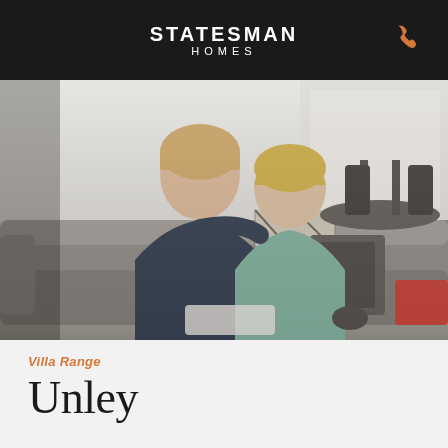STATESMAN HOMES
[Figure (photo): A smiling couple sitting on a grey sofa in a modern living room interior. The man has his arm around the woman. A decorative black and white patterned cushion is visible on the sofa. In the background there is a dining table with black chairs visible through an open-plan space.]
Villa Range
Unley